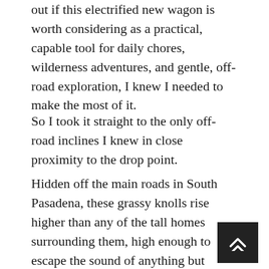out if this electrified new wagon is worth considering as a practical, capable tool for daily chores, wilderness adventures, and gentle, off-road exploration, I knew I needed to make the most of it.
So I took it straight to the only off-road inclines I knew in close proximity to the drop point.
Hidden off the main roads in South Pasadena, these grassy knolls rise higher than any of the tall homes surrounding them, high enough to escape the sound of anything but breezes.
I had attempted ascending the dirt paths up the hills once before—in a Porsche 928 from circa 1978